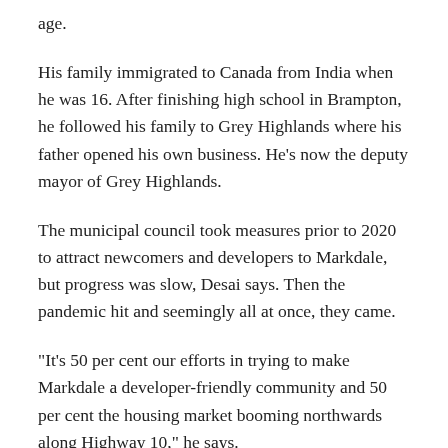age.
His family immigrated to Canada from India when he was 16. After finishing high school in Brampton, he followed his family to Grey Highlands where his father opened his own business. He’s now the deputy mayor of Grey Highlands.
The municipal council took measures prior to 2020 to attract newcomers and developers to Markdale, but progress was slow, Desai says. Then the pandemic hit and seemingly all at once, they came.
“It’s 50 per cent our efforts in trying to make Markdale a developer-friendly community and 50 per cent the housing market booming northwards along Highway 10,” he says.